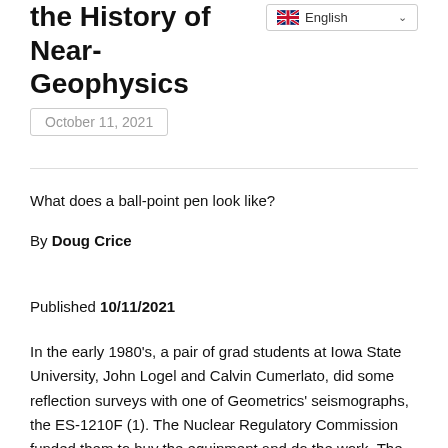the History of Near-
Geophysics
October 11, 2021
What does a ball-point pen look like?
By Doug Crice
dcrice@geostuff.com
Published 10/11/2021
In the early 1980's, a pair of grad students at Iowa State University, John Logel and Calvin Cumerlato, did some reflection surveys with one of Geometrics' seismographs, the ES-1210F (1). The Nuclear Regulatory Commission funded them to buy the equipment and do the work. The sections were relatively deep by near-surface standards, mapping a